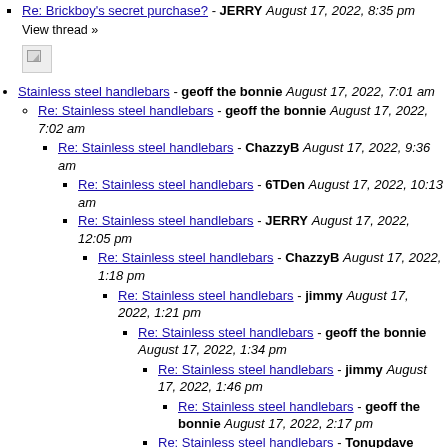Re: Brickboy's secret purchase? - JERRY August 17, 2022, 8:35 pm
View thread »
[Figure (illustration): Broken/missing image icon]
Stainless steel handlebars - geoff the bonnie August 17, 2022, 7:01 am
Re: Stainless steel handlebars - geoff the bonnie August 17, 2022, 7:02 am
Re: Stainless steel handlebars - ChazzyB August 17, 2022, 9:36 am
Re: Stainless steel handlebars - 6TDen August 17, 2022, 10:13 am
Re: Stainless steel handlebars - JERRY August 17, 2022, 12:05 pm
Re: Stainless steel handlebars - ChazzyB August 17, 2022, 1:18 pm
Re: Stainless steel handlebars - jimmy August 17, 2022, 1:21 pm
Re: Stainless steel handlebars - geoff the bonnie August 17, 2022, 1:34 pm
Re: Stainless steel handlebars - jimmy August 17, 2022, 1:46 pm
Re: Stainless steel handlebars - geoff the bonnie August 17, 2022, 2:17 pm
Re: Stainless steel handlebars - Tonupdave August 17, 2022, 2:12 pm
Re: Stainless steel handlebars - geoff the bonnie ...